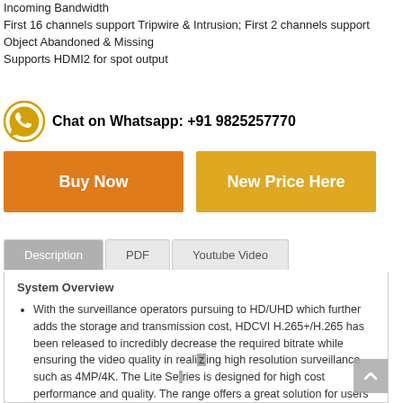Incoming Bandwidth
First 16 channels support Tripwire & Intrusion; First 2 channels support Object Abandoned & Missing
Supports HDMI2 for spot output
Chat on Whatsapp: +91 9825257770
[Figure (other): Orange Buy Now button and golden New Price Here button]
[Figure (other): Tab navigation with Description (active), PDF, Youtube Video tabs]
System Overview
With the surveillance operators pursuing to HD/UHD which further adds the storage and transmission cost, HDCVI H.265+/H.265 has been released to incredibly decrease the required bitrate while ensuring the video quality in realizing high resolution surveillance such as 4MP/4K. The Lite Series is designed for high cost performance and quality. The range offers a great solution for users facing budget constraints